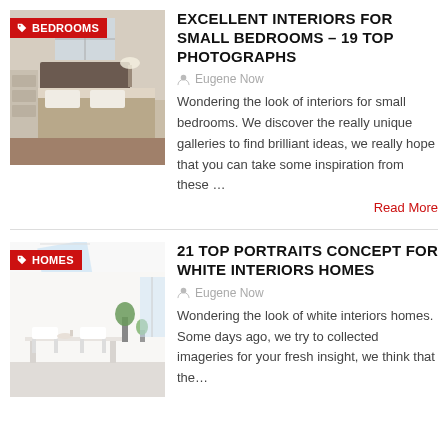[Figure (photo): Bedroom interior photo with BEDROOMS tag label]
EXCELLENT INTERIORS FOR SMALL BEDROOMS – 19 TOP PHOTOGRAPHS
Eugene Now
Wondering the look of interiors for small bedrooms. We discover the really unique galleries to find brilliant ideas, we really hope that you can take some inspiration from these …
Read More
[Figure (photo): White home interior photo with HOMES tag label]
21 TOP PORTRAITS CONCEPT FOR WHITE INTERIORS HOMES
Eugene Now
Wondering the look of white interiors homes. Some days ago, we try to collected imageries for your fresh insight, we think that the…